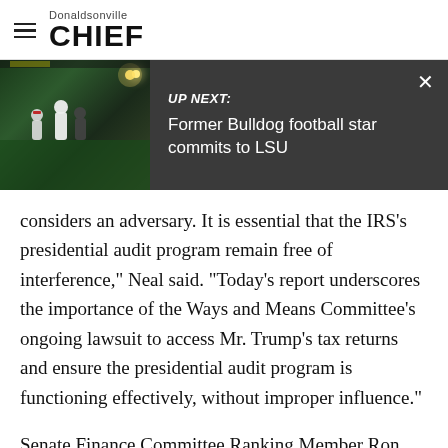Donaldsonville CHIEF
[Figure (screenshot): UP NEXT banner showing a football game photo on the left and text 'UP NEXT: Former Bulldog football star commits to LSU' on a dark background with a close X button]
considers an adversary. It is essential that the IRS's presidential audit program remain free of interference," Neal said. "Today's report underscores the importance of the Ways and Means Committee's ongoing lawsuit to access Mr. Trump's tax returns and ensure the presidential audit program is functioning effectively, without improper influence."
Senate Finance Committee Ranking Member Ron Wyden, D-Ore., pointed out that middle-class families pay more in taxes than the president.